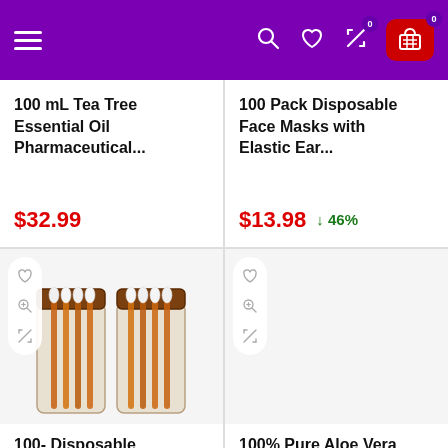Navigation header with hamburger menu, search, wishlist, compare, and cart icons
100 mL Tea Tree Essential Oil Pharmaceutical...
$32.99
100 Pack Disposable Face Masks with Elastic Ear...
$13.98
↓ 46%
[Figure (photo): Two clear cylindrical jars with brown lids containing disposable sterilizing cotton swabs]
100- Disposable Sterilizing Co...
[Figure (photo): Empty product image area with action icons (heart, zoom, compare)]
100% Pure Aloe Vera Gel Rec...